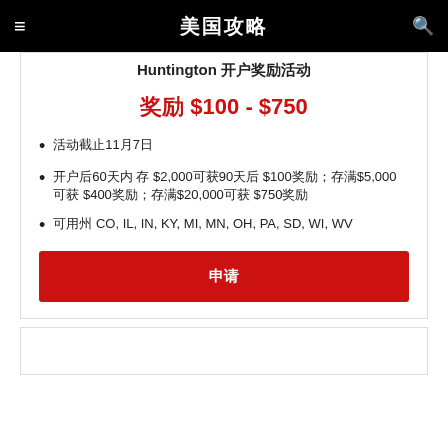≡  美国攻略  🔍
Huntington 开户奖励活动
奖励 $100 - $750
活动截止11月7日
开户后60天内 存 $2,000可获90天后 $100奖励；存满$5,000可获 $400奖励；存满$20,000可获 $750奖励
可用州 CO, IL, IN, KY, MI, MN, OH, PA, SD, WI, WV
申请